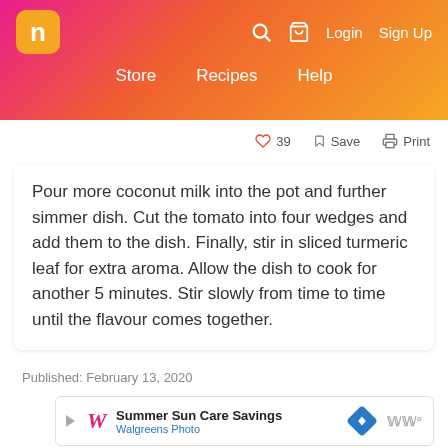n | Store  Recipes  Help | Login  Sign Up
♡ 39   ☐ Save   ⎙ Print
Pour more coconut milk into the pot and further simmer dish. Cut the tomato into four wedges and add them to the dish. Finally, stir in sliced turmeric leaf for extra aroma. Allow the dish to cook for another 5 minutes. Stir slowly from time to time until the flavour comes together.
Published: February 13, 2020
[Figure (other): Walgreens Summer Sun Care Savings advertisement banner]